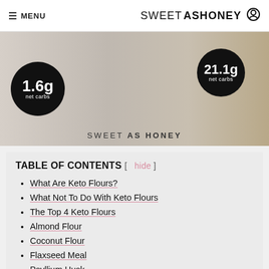≡ MENU   SWEETASHONEY ⊙
[Figure (photo): Hero image showing keto flour comparisons with two black circular badges: left badge '1.6g net carbs', right badge '21.1g net carbs'. Bottom center text reads 'SWEET AS HONEY'.]
TABLE OF CONTENTS [ hide ]
What Are Keto Flours?
What Not To Do With Keto Flours
The Top 4 Keto Flours
Almond Flour
Coconut Flour
Flaxseed Meal
Psyllium Husk
Other Keto Flours